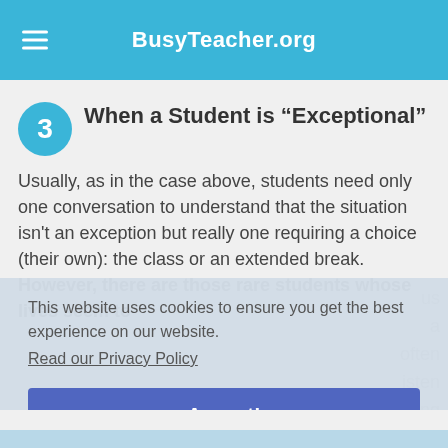BusyTeacher.org
When a Student is “Exceptional”
Usually, as in the case above, students need only one conversation to understand that the situation isn't an exception but really one requiring a choice (their own): the class or an extended break. However, there are those rare students whose lives seem to [be continuously] a [problem, and who are often] [cons] isten [ting]
This website uses cookies to ensure you get the best experience on our website. Read our Privacy Policy
Accept!